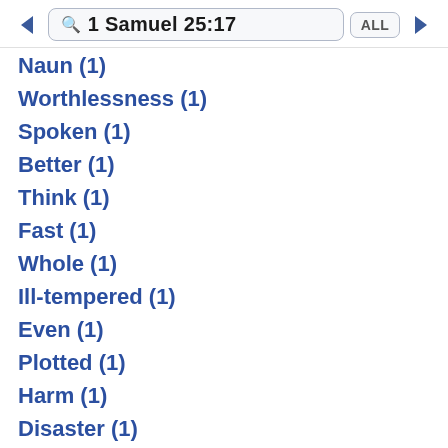1 Samuel 25:17 ALL
Naun (1)
Worthlessness (1)
Spoken (1)
Better (1)
Think (1)
Fast (1)
Whole (1)
Ill-tempered (1)
Even (1)
Plotted (1)
Harm (1)
Disaster (1)
Tells (1)